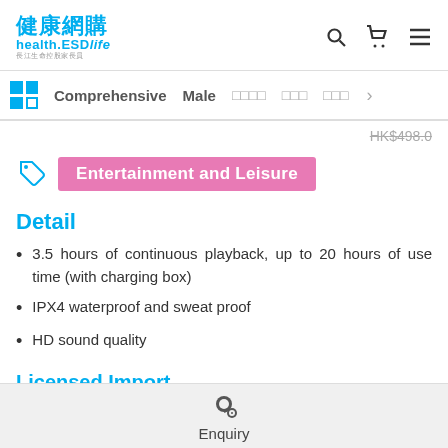健康網購 health.ESDlife 長江生命控股家長員
Comprehensive  Male  □□□□  □□□  □□□ >
HK$498.0
Entertainment and Leisure
Detail
3.5 hours of continuous playback, up to 20 hours of use time (with charging box)
IPX4 waterproof and sweat proof
HD sound quality
Licensed Import
Warranty period: 12 month(s)
Enquiry